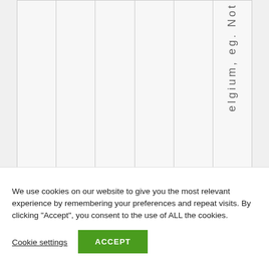|  |  |  |  |  | elgium, eg. Not |
| --- | --- | --- | --- | --- | --- |
We use cookies on our website to give you the most relevant experience by remembering your preferences and repeat visits. By clicking “Accept”, you consent to the use of ALL the cookies.
Cookie settings
ACCEPT